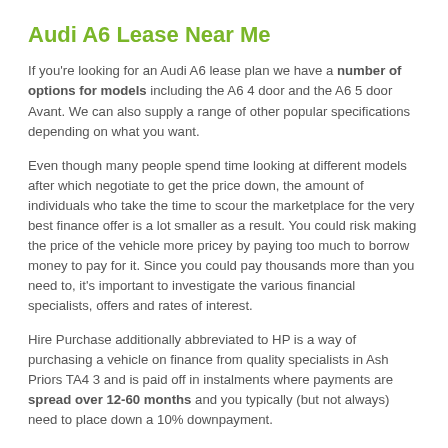Audi A6 Lease Near Me
If you're looking for an Audi A6 lease plan we have a number of options for models including the A6 4 door and the A6 5 door Avant. We can also supply a range of other popular specifications depending on what you want.
Even though many people spend time looking at different models after which negotiate to get the price down, the amount of individuals who take the time to scour the marketplace for the very best finance offer is a lot smaller as a result. You could risk making the price of the vehicle more pricey by paying too much to borrow money to pay for it. Since you could pay thousands more than you need to, it's important to investigate the various financial specialists, offers and rates of interest.
Hire Purchase additionally abbreviated to HP is a way of purchasing a vehicle on finance from quality specialists in Ash Priors TA4 3 and is paid off in instalments where payments are spread over 12-60 months and you typically (but not always) need to place down a 10% downpayment.